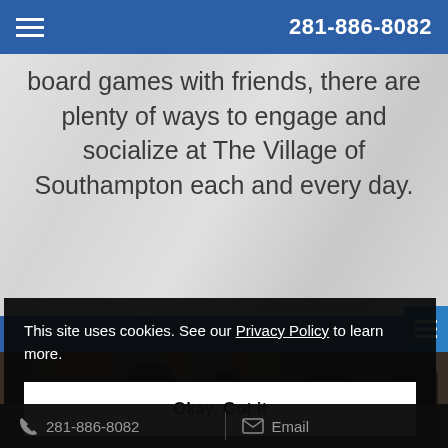281-886-8082
board games with friends, there are plenty of ways to engage and socialize at The Village of Southampton each and every day.
[Figure (photo): Blurred photo of people in a social setting, partially visible behind cookie consent banner]
This site uses cookies. See our Privacy Policy to learn more.
Okay, Got it
281-886-8082   Email